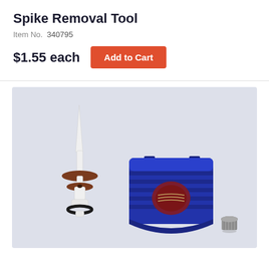Spike Removal Tool
Item No.  340795
$1.55 each
Add to Cart
[Figure (photo): Photo of a Spike Removal Tool set showing a white spike/nozzle with brown rubber disc base and o-ring, a blue ribbed plastic tool block with logo, and a small metal threaded cap/nut, all on a light grey background.]